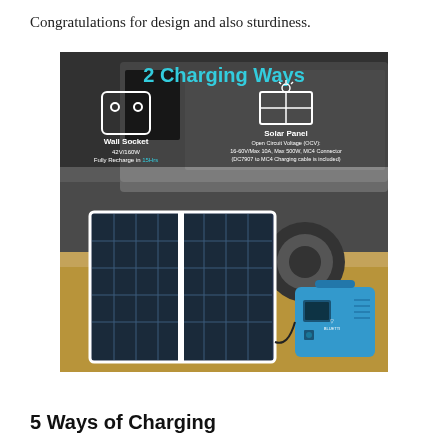Congratulations for design and also sturdiness.
[Figure (photo): Product photo showing a solar panel and a blue portable power station (Bluetti brand) on dry ground in front of a camper trailer. An infographic overlay reads '2 Charging Ways' in cyan text, with icons and descriptions for Wall Socket (42V/160W, Fully Recharge in 15Hrs) and Solar Panel (Open Circuit Voltage (OCV): 16-60V/Max 10A, Max 500W, MC4 Connector, DC7907 to MC4 Charging cable is included).]
5 Ways of Charging